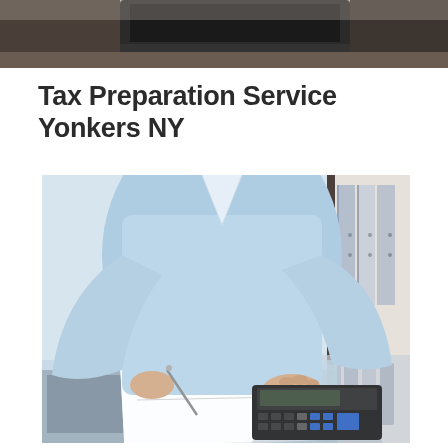[Figure (photo): Cropped top portion of a photo showing a desk scene with a dark laptop/monitor and dark background, visible at the very top of the page.]
Tax Preparation Service Yonkers NY
[Figure (photo): A person in a light blue dress shirt sitting at a glass desk, writing on paper documents with a pen in one hand, while using a black calculator with the other hand. Filing binders are visible in the background on the right.]